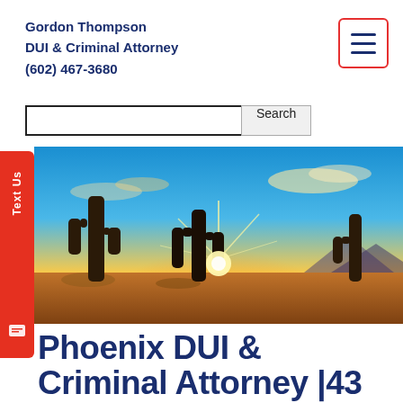Gordon Thompson
DUI & Criminal Attorney
(602) 467-3680
[Figure (screenshot): Search bar with text input field and Search button]
[Figure (photo): Arizona desert sunset with saguaro cacti silhouetted against a vivid orange, yellow and blue sky]
Phoenix DUI & Criminal Attorney |43